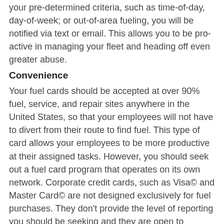your pre-determined criteria, such as time-of-day, day-of-week; or out-of-area fueling, you will be notified via text or email. This allows you to be pro-active in managing your fleet and heading off even greater abuse.
Convenience
Your fuel cards should be accepted at over 90% fuel, service, and repair sites anywhere in the United States, so that your employees will not have to divert from their route to find fuel. This type of card allows your employees to be more productive at their assigned tasks. However, you should seek out a fuel card program that operates on its own network. Corporate credit cards, such as Visa© and Master Card© are not designed exclusively for fuel purchases. They don't provide the level of reporting you should be seeking and they are open to potential abuse.
Reporting
Your program should provide a secured website that allows you access to a full suite of vehicle, driver and